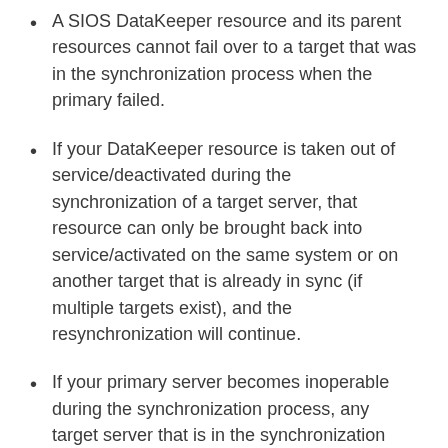A SIOS DataKeeper resource and its parent resources cannot fail over to a target that was in the synchronization process when the primary failed.
If your DataKeeper resource is taken out of service/deactivated during the synchronization of a target server, that resource can only be brought back into service/activated on the same system or on another target that is already in sync (if multiple targets exist), and the resynchronization will continue.
If your primary server becomes inoperable during the synchronization process, any target server that is in the synchronization process will not